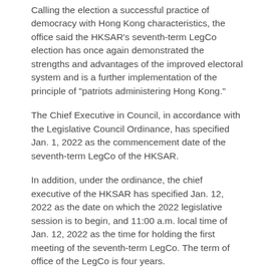Calling the election a successful practice of democracy with Hong Kong characteristics, the office said the HKSAR's seventh-term LegCo election has once again demonstrated the strengths and advantages of the improved electoral system and is a further implementation of the principle of "patriots administering Hong Kong."
The Chief Executive in Council, in accordance with the Legislative Council Ordinance, has specified Jan. 1, 2022 as the commencement date of the seventh-term LegCo of the HKSAR.
In addition, under the ordinance, the chief executive of the HKSAR has specified Jan. 12, 2022 as the date on which the 2022 legislative session is to begin, and 11:00 a.m. local time of Jan. 12, 2022 as the time for holding the first meeting of the seventh-term LegCo. The term of office of the LegCo is four years.
More reads in 24h...